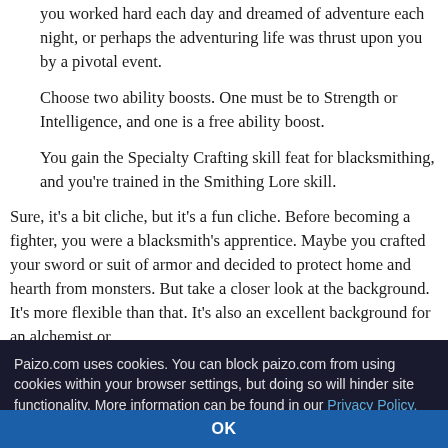you worked hard each day and dreamed of adventure each night, or perhaps the adventuring life was thrust upon you by a pivotal event.
Choose two ability boosts. One must be to Strength or Intelligence, and one is a free ability boost.
You gain the Specialty Crafting skill feat for blacksmithing, and you're trained in the Smithing Lore skill.
Sure, it's a bit cliche, but it's a fun cliche. Before becoming a fighter, you were a blacksmith's apprentice. Maybe you crafted your sword or suit of armor and decided to protect home and hearth from monsters. But take a closer look at the background. It's more flexible than that. It's also an excellent background for an alchemist or
Paizo.com uses cookies. You can block paizo.com from using cookies within your browser settings, but doing so will hinder site functionality. More information can be found in our Privacy Policy.